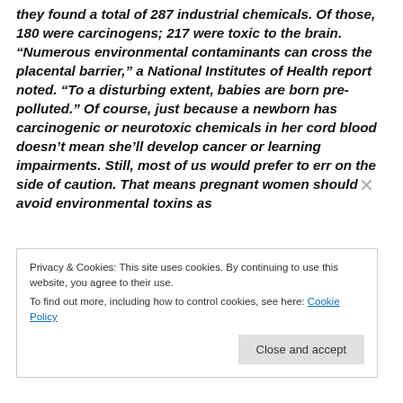they found a total of 287 industrial chemicals. Of those, 180 were carcinogens; 217 were toxic to the brain. "Numerous environmental contaminants can cross the placental barrier," a National Institutes of Health report noted. "To a disturbing extent, babies are born pre-polluted." Of course, just because a newborn has carcinogenic or neurotoxic chemicals in her cord blood doesn't mean she'll develop cancer or learning impairments. Still, most of us would prefer to err on the side of caution. That means pregnant women should avoid environmental toxins as
Privacy & Cookies: This site uses cookies. By continuing to use this website, you agree to their use.
To find out more, including how to control cookies, see here: Cookie Policy